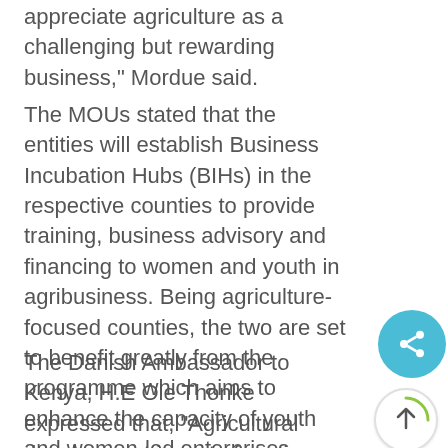appreciate agriculture as a challenging but rewarding business," Mordue said.
The MOUs stated that the entities will establish Business Incubation Hubs (BIHs) in the respective counties to provide training, business advisory and financing to women and youth in agribusiness. Being agriculture-focused counties, the two are set to benefit greatly from the programme which aims to enhance the capacity of youth and women-led enterprises.
The Danish Ambassador to Kenya, H.E Ole Thonke expressed that, “Agricultural development is up to four times more impactful than investments in other sectors for reducing poverty. Greater